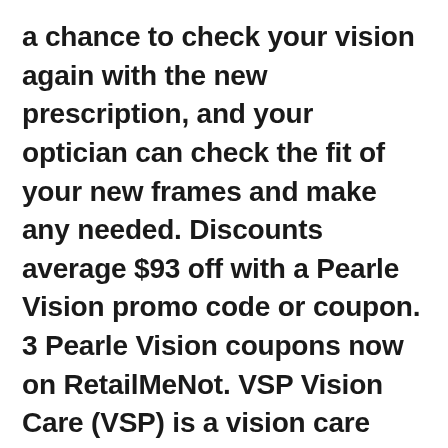a chance to check your vision again with the new prescription, and your optician can check the fit of your new frames and make any needed. Discounts average $93 off with a Pearle Vision promo code or coupon. 3 Pearle Vision coupons now on RetailMeNot. VSP Vision Care (VSP) is a vision care health insurance company operating in Australia, Canada, Ireland, the United States, and the United www.volgaboatmen.ru is a doctor-